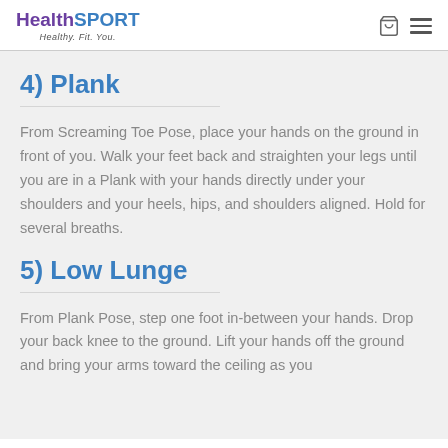HealthSPORT — Healthy. Fit. You.
4) Plank
From Screaming Toe Pose, place your hands on the ground in front of you. Walk your feet back and straighten your legs until you are in a Plank with your hands directly under your shoulders and your heels, hips, and shoulders aligned. Hold for several breaths.
5) Low Lunge
From Plank Pose, step one foot in-between your hands. Drop your back knee to the ground. Lift your hands off the ground and bring your arms toward the ceiling as you